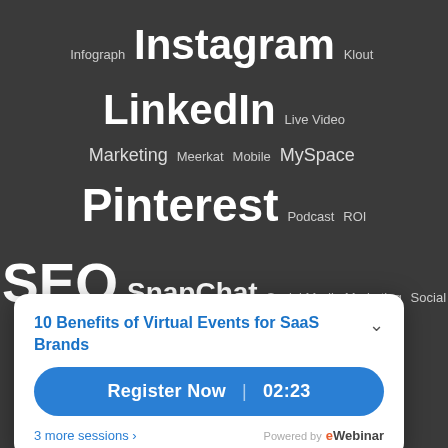[Figure (infographic): Word cloud on dark background featuring social media and digital marketing terms. Larger words in white bold text include: Twitter, Virtual Event Planning, LinkedIn, Pinterest, YouTube, SEO. Medium words include: Instagram, Strategy, Video, Virtual Event, Social Media Marketing. Smaller words include: Infograph, Klout, Live Video, Marketing, Meerkat, Mobile, MySpace, Podcast, ROI, SnapChat, Social Media Planner, Social Pulse, Summit, Tailwind, Triberr, Vine, Virtual Event Plan, Yahoo, Yelp.]
10 Benefits of Virtual Events for SaaS Brands
Register Now  02:23
3 more sessions »
Powered by eWebinar